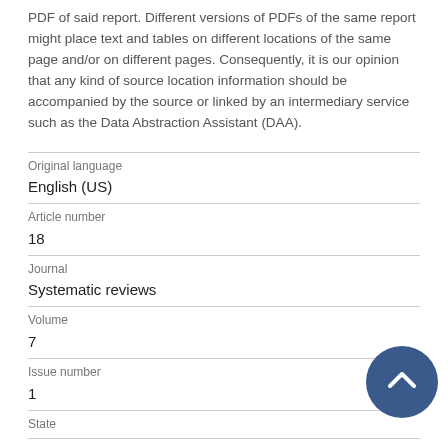PDF of said report. Different versions of PDFs of the same report might place text and tables on different locations of the same page and/or on different pages. Consequently, it is our opinion that any kind of source location information should be accompanied by the source or linked by an intermediary service such as the Data Abstraction Assistant (DAA).
| Original language | English (US) |
| Article number | 18 |
| Journal | Systematic reviews |
| Volume | 7 |
| Issue number | 1 |
| State |  |